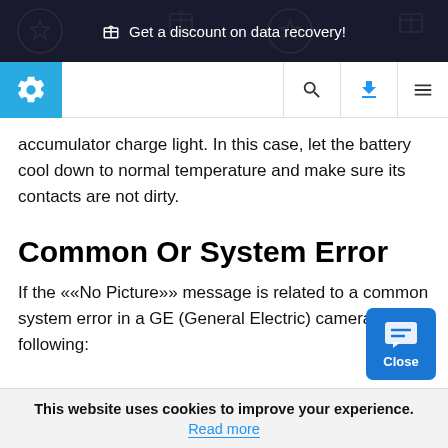🎁 Get a discount on data recovery!
[Figure (screenshot): Website navigation bar with gear/settings logo in blue square, search icon, download icon (blue), and hamburger menu icon]
accumulator charge light. In this case, let the battery cool down to normal temperature and make sure its contacts are not dirty.
Common Or System Error
If the ««No Picture»» message is related to a common system error in a GE (General Electric) camera, do the following:
This website uses cookies to improve your experience.
Read more